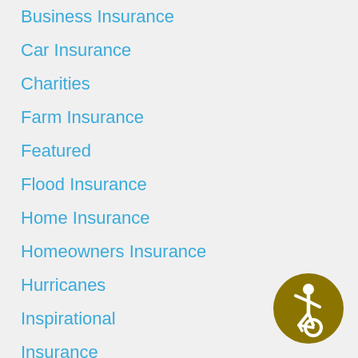Business Insurance
Car Insurance
Charities
Farm Insurance
Featured
Flood Insurance
Home Insurance
Homeowners Insurance
Hurricanes
Inspirational
Insurance
Insurance News
Insurance Quotes
Renters Insurance
[Figure (illustration): Gold/olive circular accessibility icon featuring a stylized wheelchair user symbol in white]